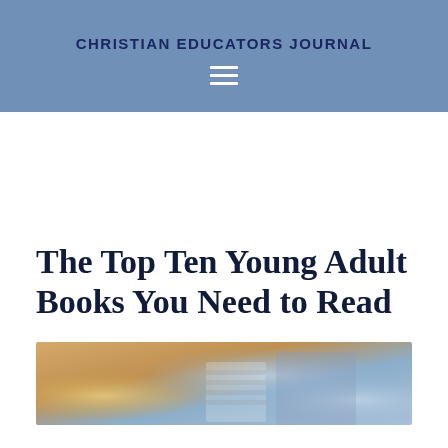CHRISTIAN EDUCATORS JOURNAL
The Top Ten Young Adult Books You Need to Read
[Figure (photo): Photo of young adults or students reading books, partially cropped at bottom of page]